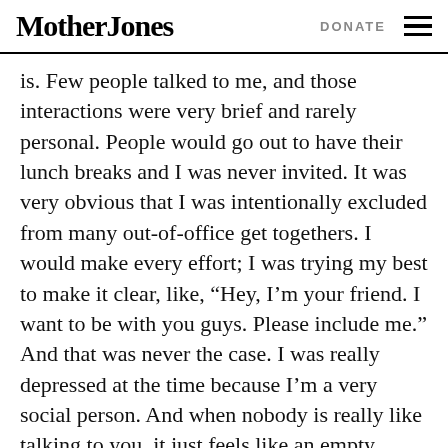Mother Jones | DONATE
is. Few people talked to me, and those interactions were very brief and rarely personal. People would go out to have their lunch breaks and I was never invited. It was very obvious that I was intentionally excluded from many out-of-office get togethers. I would make every effort; I was trying my best to make it clear, like, “Hey, I’m your friend. I want to be with you guys. Please include me.” And that was never the case. I was really depressed at the time because I’m a very social person. And when nobody is really like talking to you, it just feels like an empty space.